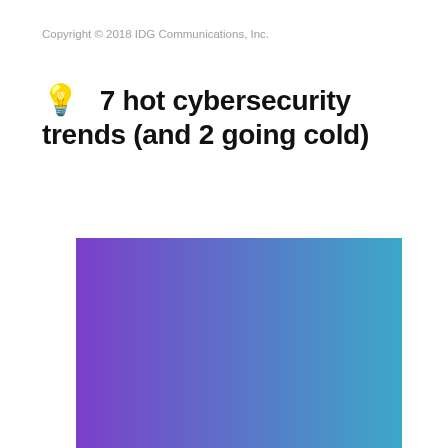Copyright © 2018 IDG Communications, Inc.
💡  7 hot cybersecurity trends (and 2 going cold)
[Figure (illustration): Large gradient rectangle transitioning from purple on the left to teal/cyan on the right, partially visible at bottom of page.]